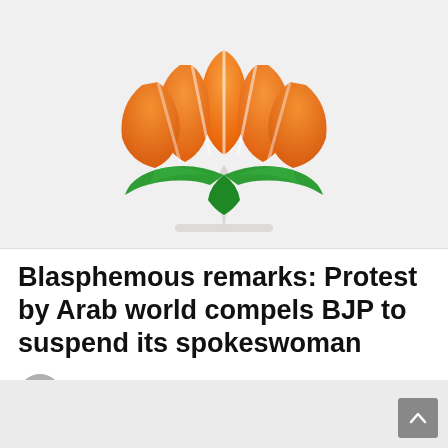[Figure (logo): BJP (Bharatiya Janata Party) lotus flower logo — orange petals on top, green leaves at bottom, on a light gray background]
Blasphemous remarks: Protest by Arab world compels BJP to suspend its spokeswoman
by WebAdmin
3 months ago